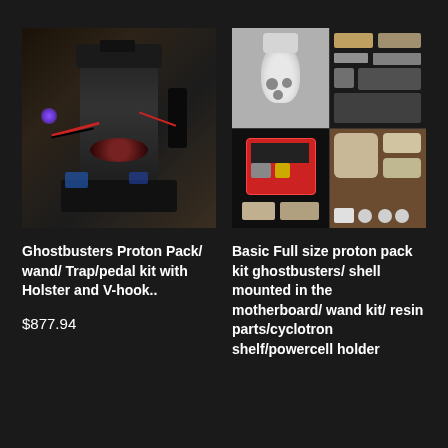[Figure (photo): Ghostbusters Proton Pack prop with wand, trap, and various attachments, photographed against a light indoor background. Dark gunmetal finish with purple lighting element visible on the left side.]
[Figure (photo): Collage of four images showing a basic full size proton pack kit components: top-left shows white 3D-printed cyclotron/shell piece, top-right shows hardware parts laid out on dark background, bottom-left shows electronic/circuit components on dark background, bottom-right shows resin parts on wooden surface.]
Ghostbusters Proton Pack/ wand/ Trap/pedal kit with Holster and V-hook..
Basic Full size proton pack kit ghostbusters/ shell mounted in the motherboard/ wand kit/ resin parts/cyclotron shelf/powercell holder
$877.94